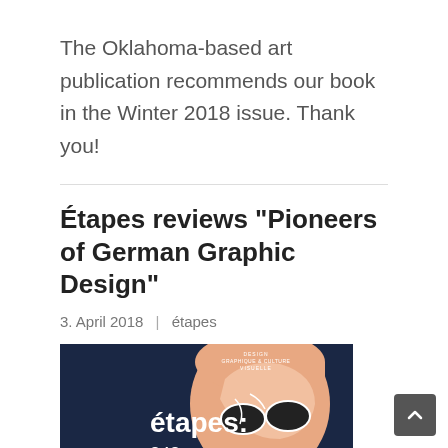The Oklahoma-based art publication recommends our book in the Winter 2018 issue. Thank you!
Étapes reviews “Pioneers of German Graphic Design”
3. April 2018  |  étapes
[Figure (photo): Cover of étapes magazine issue 242 showing stylized illustration of a person with sunglasses, text reads: DESIGN GRAPHIQUE & CULTURE VISUELLE, étapes:, 242, Dessin & Storytelling]